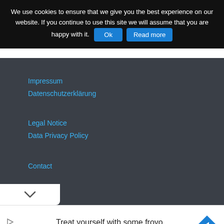We use cookies to ensure that we give you the best experience on our website. If you continue to use this site we will assume that you are happy with it. Ok  Read more
Impressum
Datenschutzerklärung
Legal Notice
Data Privacy Policy
Contact
[Figure (screenshot): Chevron/collapse widget button showing a downward arrow (v) on a white rounded background at bottom of dark nav section]
[Figure (infographic): Advertisement banner: sweetFrog logo on left, text 'Treat yourself with some froyo' and 'sweetFrog', blue diamond navigation arrow icon on right, small play and close icons on far left]